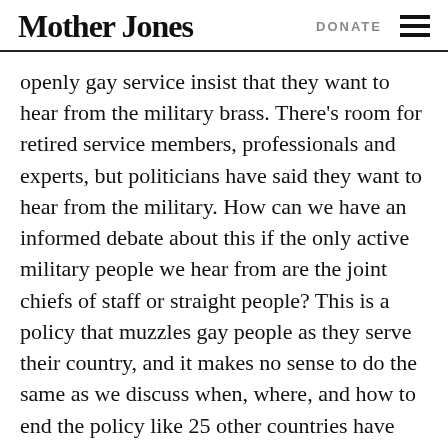Mother Jones | DONATE
openly gay service insist that they want to hear from the military brass. There’s room for retired service members, professionals and experts, but politicians have said they want to hear from the military. How can we have an informed debate about this if the only active military people we hear from are the joint chiefs of staff or straight people? This is a policy that muzzles gay people as they serve their country, and it makes no sense to do the same as we discuss when, where, and how to end the policy like 25 other countries have done.
MJ: Why has Obama delayed a hearing on “Don’t Ask, Don’t Tell,” and hesitated to make an executive